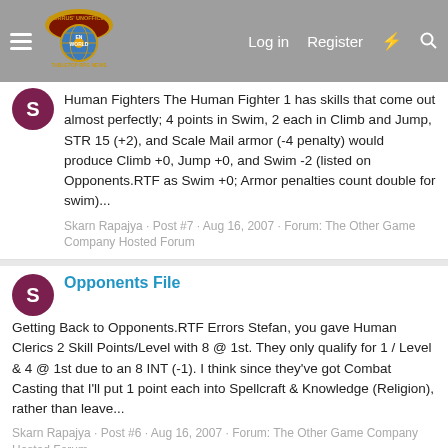Morrus' Unofficial Tabletop RPG News — Log in  Register
Human Fighters The Human Fighter 1 has skills that come out almost perfectly; 4 points in Swim, 2 each in Climb and Jump, STR 15 (+2), and Scale Mail armor (-4 penalty) would produce Climb +0, Jump +0, and Swim -2 (listed on Opponents.RTF as Swim +0; Armor penalties count double for swim)...
Skarn Rapajya · Post #7 · Aug 16, 2007 · Forum: The Other Game Company Hosted Forum
Opponents File
Getting Back to Opponents.RTF Errors Stefan, you gave Human Clerics 2 Skill Points/Level with 8 @ 1st. They only qualify for 1 / Level & 4 @ 1st due to an 8 INT (-1). I think since they've got Combat Casting that I'll put 1 point each into Spellcraft & Knowledge (Religion), rather than leave...
Skarn Rapajya · Post #6 · Aug 16, 2007 · Forum: The Other Game Company Hosted Forum